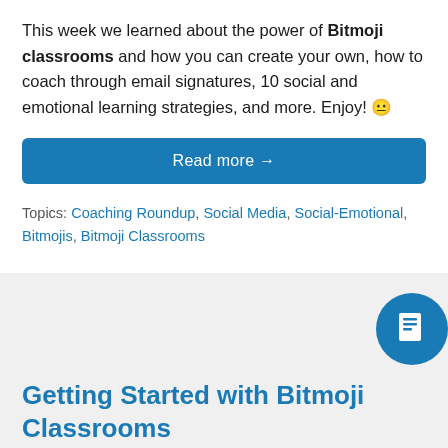This week we learned about the power of Bitmoji classrooms and how you can create your own, how to coach through email signatures, 10 social and emotional learning strategies, and more. Enjoy! 😐
Read more →
Topics: Coaching Roundup, Social Media, Social-Emotional, Bitmojis, Bitmoji Classrooms
[Figure (illustration): Blue circle icon with a document/page symbol in white]
Getting Started with Bitmoji Classrooms